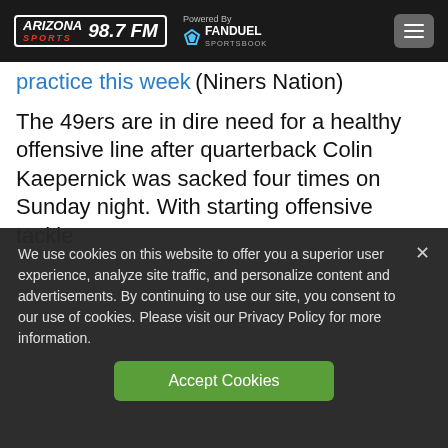Arizona Sports 98.7 FM — Powered By FanDuel Sportsbook
practice this week (Niners Nation)
The 49ers are in dire need for a healthy offensive line after quarterback Colin Kaepernick was sacked four times on Sunday night. With starting offensive tackle
We use cookies on this website to offer you a superior user experience, analyze site traffic, and personalize content and advertisements. By continuing to use our site, you consent to our use of cookies. Please visit our Privacy Policy for more information.
Accept Cookies